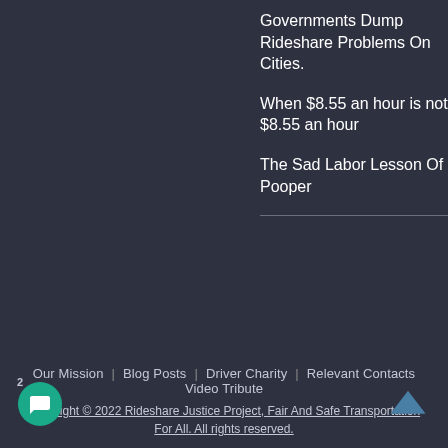Governments Dump Rideshare Problems On Cities.
When $8.55 an hour is not $8.55 an hour
The Sad Labor Lesson Of Pooper
Our Mission   Blog Posts   Driver Charity   Relevant Contacts   Video Tribute
Copyright © 2022 Rideshare Justice Project, Fair And Safe Transportation For All. All rights reserved.